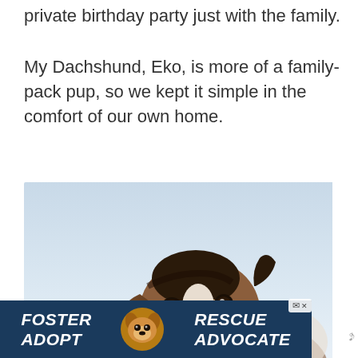private birthday party just with the family.
My Dachshund, Eko, is more of a family-pack pup, so we kept it simple in the comfort of our own home.
[Figure (photo): A Dachshund dog lying down with head tilted sideways, photographed against a light blue background. The dog has a brown, black and white coat.]
[Figure (other): Advertisement banner with dark blue background showing 'FOSTER ADOPT' on the left, a cartoon beagle dog icon in the center, and 'RESCUE ADVOCATE' on the right, all in bold italic white uppercase text.]